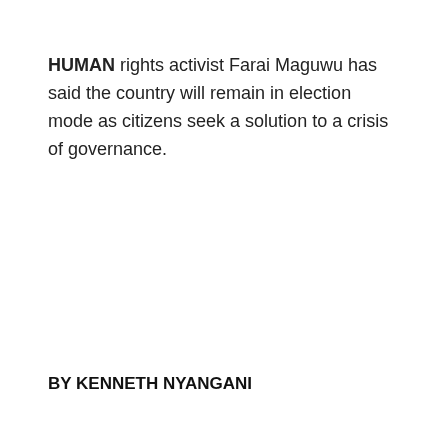HUMAN rights activist Farai Maguwu has said the country will remain in election mode as citizens seek a solution to a crisis of governance.
BY KENNETH NYANGANI